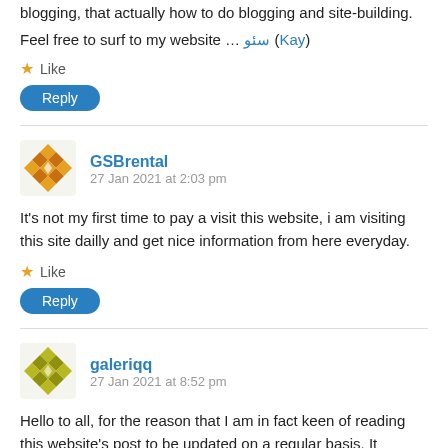blogging, that actually how to do blogging and site-building.
Feel free to surf to my website … سئو (Kay)
★ Like
Reply
[Figure (illustration): Orange geometric/mosaic avatar icon for user GSBrental]
GSBrental
27 Jan 2021 at 2:03 pm
It's not my first time to pay a visit this website, i am visiting this site dailly and get nice information from here everyday.
★ Like
Reply
[Figure (illustration): Yellow-green geometric/mosaic avatar icon for user galeriqq]
galeriqq
27 Jan 2021 at 8:52 pm
Hello to all, for the reason that I am in fact keen of reading this website's post to be updated on a regular basis. It includes good information.